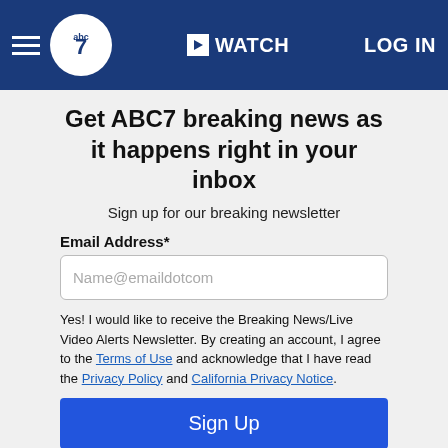≡  abc7  ▶ WATCH  LOG IN
Get ABC7 breaking news as it happens right in your inbox
Sign up for our breaking newsletter
Email Address*
Name@emaildotcom
Yes! I would like to receive the Breaking News/Live Video Alerts Newsletter. By creating an account, I agree to the Terms of Use and acknowledge that I have read the Privacy Policy and California Privacy Notice.
Sign Up